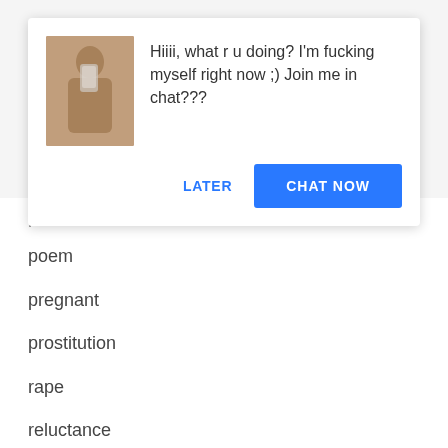[Figure (screenshot): A browser/app notification popup card with a thumbnail image on the left and text on the right reading: 'Hiiii, what r u doing? I'm fucking myself right now ;) Join me in chat???' with two buttons: LATER and CHAT NOW]
poem
pregnant
prostitution
rape
reluctance
romance
sado-masochism